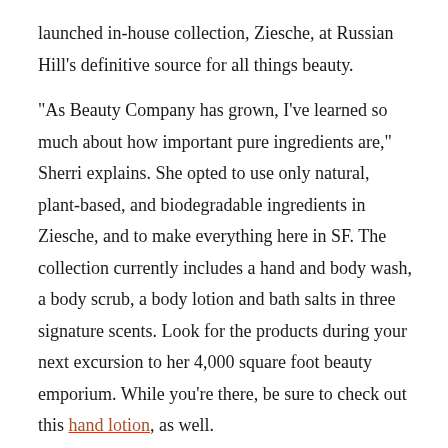launched in-house collection, Ziesche, at Russian Hill's definitive source for all things beauty.
"As Beauty Company has grown, I've learned so much about how important pure ingredients are," Sherri explains. She opted to use only natural, plant-based, and biodegradable ingredients in Ziesche, and to make everything here in SF. The collection currently includes a hand and body wash, a body scrub, a body lotion and bath salts in three signature scents. Look for the products during your next excursion to her 4,000 square foot beauty emporium. While you're there, be sure to check out this hand lotion, as well.
· Ziesche [Official Site]
· San Francisco's 38 Essential Beauty Shopping Experiences [Racked SF]